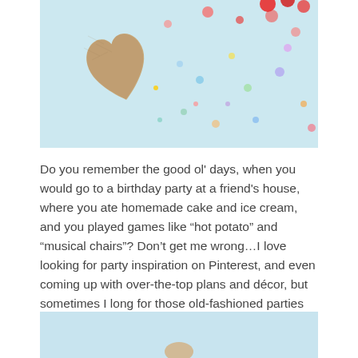[Figure (photo): Top portion of a party-themed flatlay photo on a light blue background, showing a heart-shaped rice crispy treat or cookie and colorful confetti dots scattered around, with red candy or flowers visible at the top right.]
Do you remember the good ol' days, when you would go to a birthday party at a friend's house, where you ate homemade cake and ice cream, and you played games like “hot potato” and “musical chairs”? Don’t get me wrong…I love looking for party inspiration on Pinterest, and even coming up with over-the-top plans and décor, but sometimes I long for those old-fashioned parties where everything was simple, but somehow we had the best time EVER! Welllllllll, I’m bringing “old school” back, but with a twist!
[Figure (photo): Bottom portion of a party-themed flatlay photo on a light blue background, partially visible at the bottom of the page.]